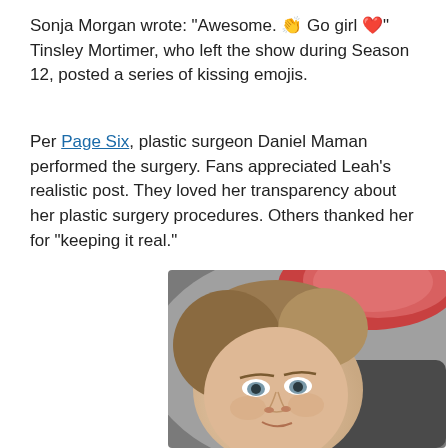Sonja Morgan wrote: “Awesome. 👏 Go girl ❤️” Tinsley Mortimer, who left the show during Season 12, posted a series of kissing emojis.
Per Page Six, plastic surgeon Daniel Maman performed the surgery. Fans appreciated Leah’s realistic post. They loved her transparency about her plastic surgery procedures. Others thanked her for “keeping it real.”
[Figure (photo): A woman with light brown hair pulled back takes a selfie while lying down, showing her face and what appears to be a bandaged or swollen area above the frame. She has blue-grey eyes and no makeup. The photo appears to be a post-surgery selfie.]